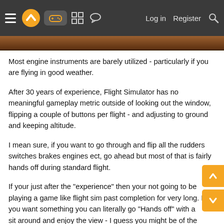≡ [logo] [controller icon] [grid icon] [chat icon]  Log in  Register  [search]
[Figure (screenshot): Partial screenshot of a game/sim, dark brown/orange tones]
Most engine instruments are barely utilized - particularly if you are flying in good weather.
After 30 years of experience, Flight Simulator has no meaningful gameplay metric outside of looking out the window, flipping a couple of buttons per flight - and adjusting to ground and keeping altitude.
I mean sure, if you want to go through and flip all the rudders switches brakes engines ect, go ahead but most of that is fairly hands off during standard flight.
If your just after the "experience" then your not going to be playing a game like flight sim past completion for very long. If you want something you can literally go "Hands off" with and sit around and enjoy the view - I guess you might be of the small majority who rigorously play a game like Flight Simulator after completion.